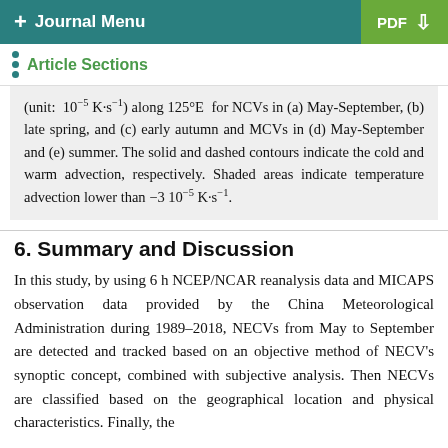+ Journal Menu   PDF ↓
Article Sections
(unit: 10⁻⁵ K·s⁻¹) along 125°E for NCVs in (a) May-September, (b) late spring, and (c) early autumn and MCVs in (d) May-September and (e) summer. The solid and dashed contours indicate the cold and warm advection, respectively. Shaded areas indicate temperature advection lower than −3 10⁻⁵ K·s⁻¹.
6. Summary and Discussion
In this study, by using 6 h NCEP/NCAR reanalysis data and MICAPS observation data provided by the China Meteorological Administration during 1989–2018, NECVs from May to September are detected and tracked based on an objective method of NECV's synoptic concept, combined with subjective analysis. Then NECVs are classified based on the geographical location and physical characteristics. Finally, the